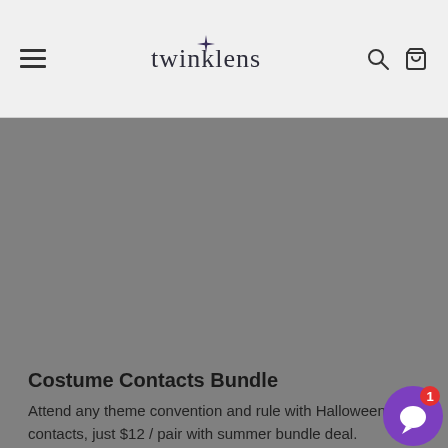twinklens — navigation header with hamburger menu, logo, search and cart icons
[Figure (other): Gray rectangular placeholder image area for product photo]
Costume Contacts Bundle
Attend any theme convention and rule with Halloween contacts, just $12 / pair with summer bundle deal.
Mix & Match